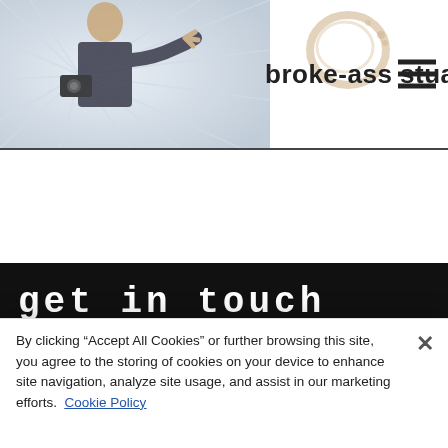broke-ass stuart
get in touch
By clicking “Accept All Cookies” or further browsing this site, you agree to the storing of cookies on your device to enhance site navigation, analyze site usage, and assist in our marketing efforts. Cookie Policy
Cookies Settings
Reject All
Accept All Cookies